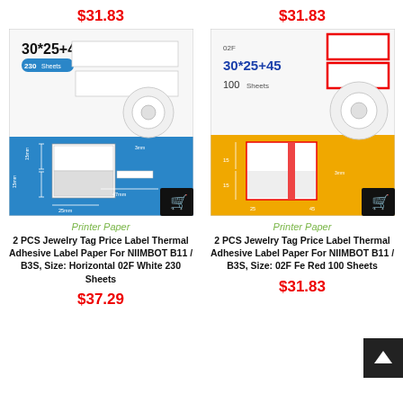$31.83
$31.83
[Figure (photo): Product image of NIIMBOT label rolls showing 30*25+47mm size, 230 sheets, white labels on blue background with dimension diagram]
[Figure (photo): Product image of NIIMBOT label rolls showing 02F 30*25+45mm size, 100 sheets, red-bordered labels on yellow/white background with dimension diagram]
Printer Paper
Printer Paper
2 PCS Jewelry Tag Price Label Thermal Adhesive Label Paper For NIIMBOT B11 / B3S, Size: Horizontal 02F White 230 Sheets
2 PCS Jewelry Tag Price Label Thermal Adhesive Label Paper For NIIMBOT B11 / B3S, Size: 02F Fe Red 100 Sheets
$37.29
$31.83